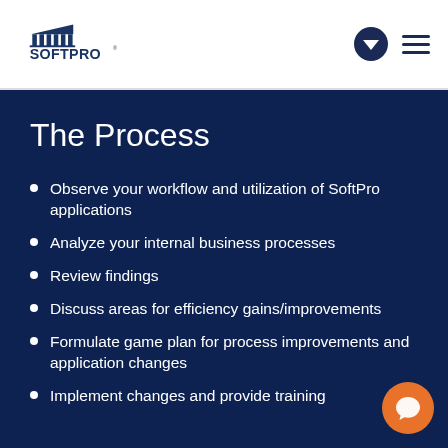SoftPro logo and navigation header
The Process
Observe your workflow and utilization of SoftPro applications
Analyze your internal business processes
Review findings
Discuss areas for efficiency gains/improvements
Formulate game plan for process improvements and application changes
Implement changes and provide training